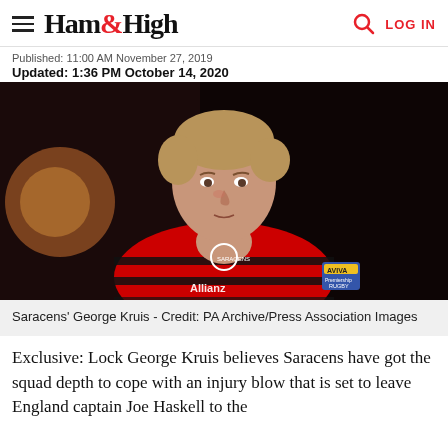Ham&High | LOG IN
Published: 11:00 AM November 27, 2019
Updated: 1:36 PM October 14, 2020
[Figure (photo): Saracens rugby player George Kruis in red and black striped jersey with Allianz sponsor and Aviva Premiership Rugby badge]
Saracens' George Kruis - Credit: PA Archive/Press Association Images
Exclusive: Lock George Kruis believes Saracens have got the squad depth to cope with an injury blow that is set to leave England captain Joe Haskell to the ...